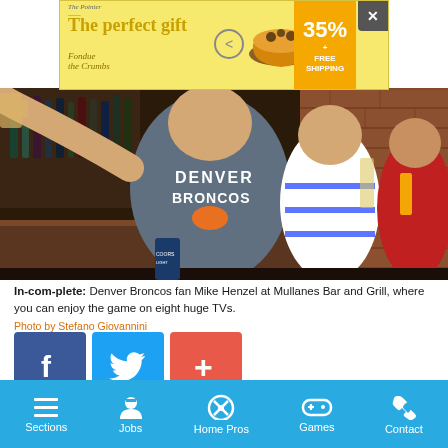[Figure (infographic): Advertisement banner: 'The perfect gift' with food bowl image, arrows, 35% FREE SHIPPING offer, yellow background]
[Figure (photo): Denver Broncos fan Mike Henzel at Mullanes Bar and Grill holding up a beer mug toward camera, two women with drinks smiling in background at a bar]
In-com-plete: Denver Broncos fan Mike Henzel at Mullanes Bar and Grill, where you can enjoy the game on eight huge TVs.
Photo by Stefano Giovannini
[Figure (infographic): Social share buttons: Facebook (blue), Twitter (light blue), Add/Plus (red-orange)]
Sections  Jobs  Home Pros  Games  Contact